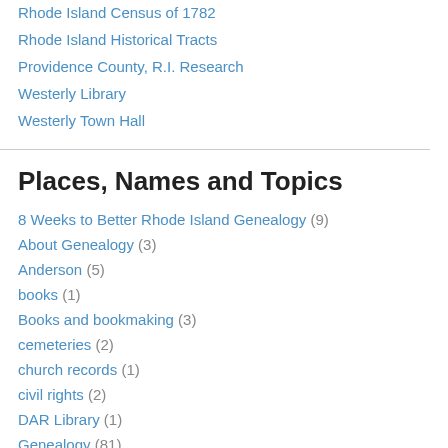Rhode Island Census of 1782
Rhode Island Historical Tracts
Providence County, R.I. Research
Westerly Library
Westerly Town Hall
Places, Names and Topics
8 Weeks to Better Rhode Island Genealogy (9)
About Genealogy (3)
Anderson (5)
books (1)
Books and bookmaking (3)
cemeteries (2)
church records (1)
civil rights (2)
DAR Library (1)
Genealogy (81)